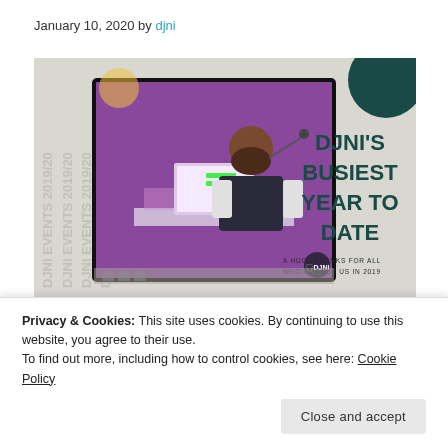January 10, 2020 by djni
[Figure (photo): Promotional image for DJNI's busiest year to date. Left side shows a man with a beard operating DJ/presentation equipment with purple lighting. Right side shows bold dark teal text 'DJNI'S BUSIEST YEAR TO DATE' with a subtitle 'A HUGE THANKS FOR ALL WHO BOOKED US IN 2019'. Background is light grey with watermark text 'DJNI EVENTS 2019/20' repeated.]
Well what I we say? 2019 you were mega! DJNI started off
Privacy & Cookies: This site uses cookies. By continuing to use this website, you agree to their use.
To find out more, including how to control cookies, see here: Cookie Policy
Close and accept